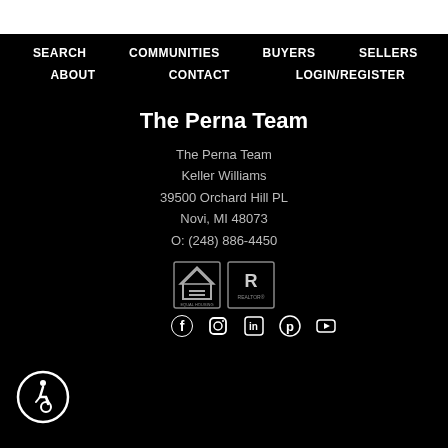SEARCH   COMMUNITIES   BUYERS   SELLERS   ABOUT   CONTACT   LOGIN/REGISTER
The Perna Team
The Perna Team
Keller Williams
39500 Orchard Hill PL
Novi, MI 48073
O: (248) 886-4450
[Figure (logo): Equal Housing Opportunity and REALTOR logos]
[Figure (logo): Accessibility icon (wheelchair)]
[Figure (logo): Social media icons: Facebook, Instagram, LinkedIn, Pinterest, YouTube]